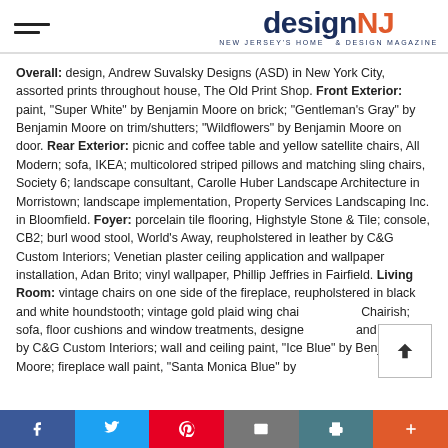designNJ — NEW JERSEY'S HOME & DESIGN MAGAZINE
Overall: design, Andrew Suvalsky Designs (ASD) in New York City, assorted prints throughout house, The Old Print Shop. Front Exterior: paint, "Super White" by Benjamin Moore on brick; "Gentleman's Gray" by Benjamin Moore on trim/shutters; "Wildflowers" by Benjamin Moore on door. Rear Exterior: picnic and coffee table and yellow satellite chairs, All Modern; sofa, IKEA; multicolored striped pillows and matching sling chairs, Society 6; landscape consultant, Carolle Huber Landscape Architecture in Morristown; landscape implementation, Property Services Landscaping Inc. in Bloomfield. Foyer: porcelain tile flooring, Highstyle Stone & Tile; console, CB2; burl wood stool, World's Away, reupholstered in leather by C&G Custom Interiors; Venetian plaster ceiling application and wallpaper installation, Adan Brito; vinyl wallpaper, Phillip Jeffries in Fairfield. Living Room: vintage chairs on one side of the fireplace, reupholstered in black and white houndstooth; vintage gold plaid wing chairs, Chairish; sofa, floor cushions and window treatments, designed and produced by C&G Custom Interiors; wall and ceiling paint, "Ice Blue" by Benjamin Moore; fireplace wall paint, "Santa Monica Blue" by
Social share bar: Facebook, Twitter, Pinterest, Email, Print, More